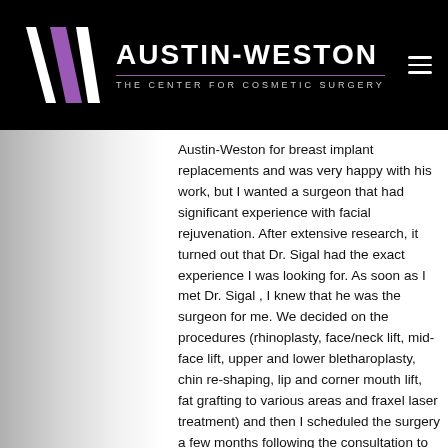[Figure (logo): Austin-Weston The Center For Cosmetic Surgery logo on black background with stylized AW monogram in white and purple]
Austin-Weston for breast implant replacements and was very happy with his work, but I wanted a surgeon that had significant experience with facial rejuvenation. After extensive research, it turned out that Dr. Sigal had the exact experience I was looking for. As soon as I met Dr. Sigal , I knew that he was the surgeon for me. We decided on the procedures (rhinoplasty, face/neck lift, mid-face lift, upper and lower bletharoplasty, chin re-shaping, lip and corner mouth lift, fat grafting to various areas and fraxel laser treatment) and then I scheduled the surgery a few months following the consultation to give me time to prepare my skin to ensure the best